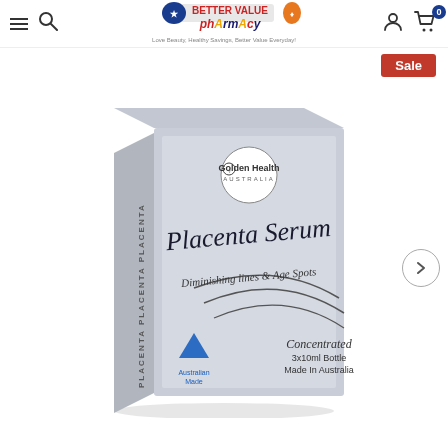Better Value Pharmacy — Navigation bar with hamburger menu, search, logo, user account, and cart (0)
[Figure (logo): Better Value Pharmacy logo: red characters, blue bow-tie figure, orange figure, text 'Love Beauty, Healthy Savings, Better Value Everyday!']
Sale
[Figure (photo): Golden Health Australia Placenta Serum product box — silver/grey box with Golden Health Australia logo, text 'Placenta Serum', 'Diminishing lines & Age Spots', 'Concentrated 3x10ml Bottle Made In Australia', Australian Made kangaroo logo]